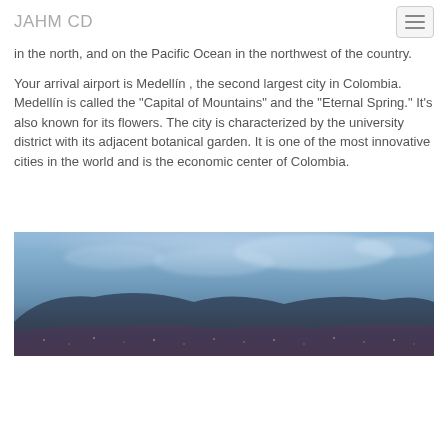JAHM CD
in the north, and on the Pacific Ocean in the northwest of the country.
Your arrival airport is Medellín , the second largest city in Colombia. Medellín is called the "Capital of Mountains" and the "Eternal Spring." It's also known for its flowers. The city is characterized by the university district with its adjacent botanical garden. It is one of the most innovative cities in the world and is the economic center of Colombia.
[Figure (photo): Aerial panoramic view of Medellín city at dusk, with mountain silhouette and city lights visible, set against a blue cloudy sky.]